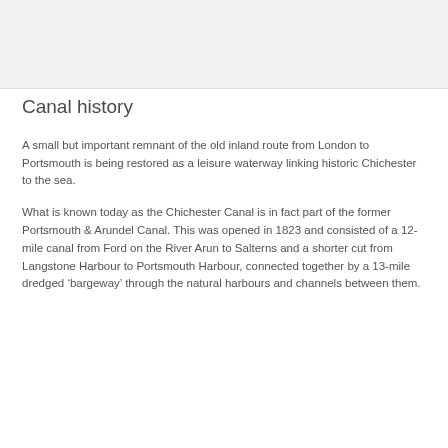[Figure (photo): Gray placeholder image area at the top of the page]
Canal history
A small but important remnant of the old inland route from London to Portsmouth is being restored as a leisure waterway linking historic Chichester to the sea.
What is known today as the Chichester Canal is in fact part of the former Portsmouth & Arundel Canal. This was opened in 1823 and consisted of a 12-mile canal from Ford on the River Arun to Salterns and a shorter cut from Langstone Harbour to Portsmouth Harbour, connected together by a 13-mile dredged ‘bargeway’ through the natural harbours and channels between them.